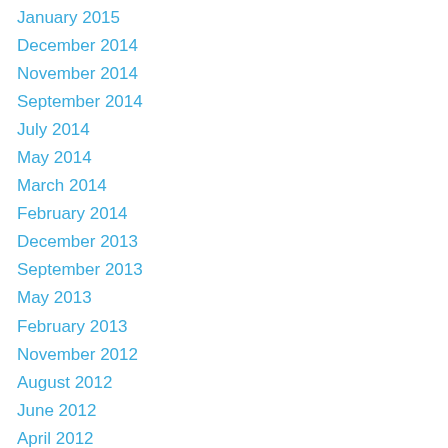January 2015
December 2014
November 2014
September 2014
July 2014
May 2014
March 2014
February 2014
December 2013
September 2013
May 2013
February 2013
November 2012
August 2012
June 2012
April 2012
March 2012
February 2012
January 2012
December 2011